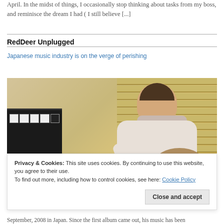April. In the midst of things, I occasionally stop thinking about tasks from my boss, and reminisce the dream I had ( I still believe [...]
RedDeer Unplugged
Japanese music industry is on the verge of perishing
[Figure (photo): A young Asian man playing guitar or keyboard instrument, wearing a white sweater with a scarf, seated near a piano and window blinds in a warm-toned room.]
Privacy & Cookies: This site uses cookies. By continuing to use this website, you agree to their use.
To find out more, including how to control cookies, see here: Cookie Policy
Close and accept
September, 2008 in Japan. Since the first album came out, his music has been